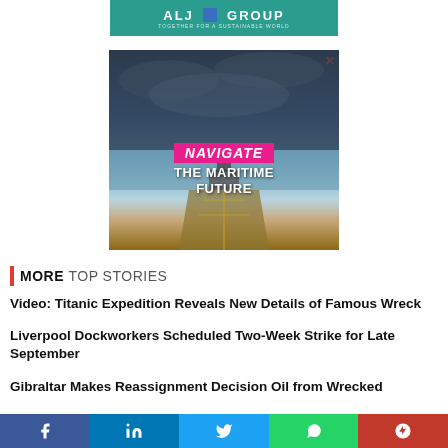[Figure (logo): ALJ Group logo banner on teal/green background with tagline 'Together for a sustainable world']
[Figure (photo): Maritime advertisement showing a large tanker ship bow-on view with stormy sky, text overlay: NAVIGATE THE MARITIME FUTURE in pink and white]
MORE TOP STORIES
Video: Titanic Expedition Reveals New Details of Famous Wreck
Liverpool Dockworkers Scheduled Two-Week Strike for Late September
Gibraltar Makes Reassignment Decision Oil from Wrecked
[Figure (other): Social media share bar with Facebook, LinkedIn, Twitter, WhatsApp, and Google+ buttons]